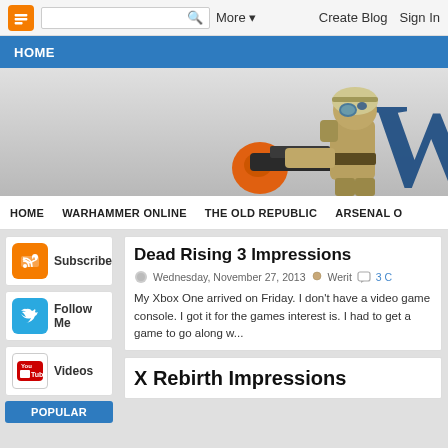Blogger navigation bar with search, More, Create Blog, Sign In
HOME
[Figure (illustration): Blog banner with video game soldier character and large 'W' letter in dark blue]
HOME  WARHAMMER ONLINE  THE OLD REPUBLIC  ARSENAL O...
Subscribe
Follow Me
Videos
Dead Rising 3 Impressions
Wednesday, November 27, 2013  Werit  3 C...
My Xbox One arrived on Friday.  I don't have a video game console.  I got it for the games interest is.  I had to get a game to go along w...
X Rebirth Impressions